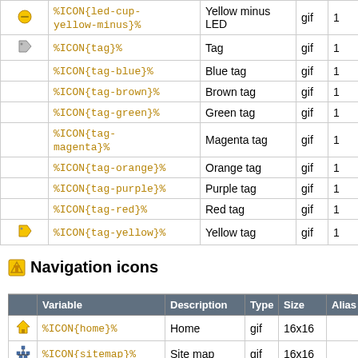|  | Variable | Description | Type | Size |
| --- | --- | --- | --- | --- |
| [icon] | %ICON{led-cup-yellow-minus}% | Yellow minus LED | gif | 1 |
| [tag icon] | %ICON{tag}% | Tag | gif | 1 |
|  | %ICON{tag-blue}% | Blue tag | gif | 1 |
|  | %ICON{tag-brown}% | Brown tag | gif | 1 |
|  | %ICON{tag-green}% | Green tag | gif | 1 |
|  | %ICON{tag-magenta}% | Magenta tag | gif | 1 |
|  | %ICON{tag-orange}% | Orange tag | gif | 1 |
|  | %ICON{tag-purple}% | Purple tag | gif | 1 |
|  | %ICON{tag-red}% | Red tag | gif | 1 |
| [yellow tag icon] | %ICON{tag-yellow}% | Yellow tag | gif | 1 |
Navigation icons
|  | Variable | Description | Type | Size | Alias |
| --- | --- | --- | --- | --- | --- |
| [home icon] | %ICON{home}% | Home | gif | 16x16 |  |
| [sitemap icon] | %ICON{sitemap}% | Site map | gif | 16x16 |  |